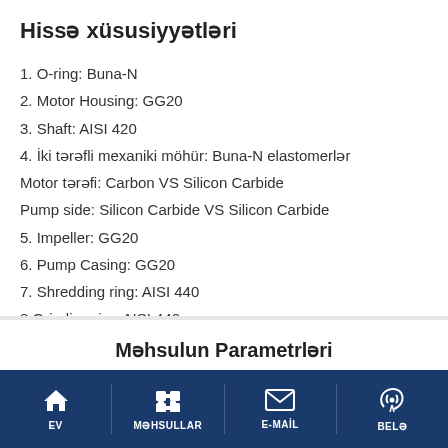Hissə xüsusiyyətləri
1. O-ring: Buna-N
2. Motor Housing: GG20
3. Shaft: AISI 420
4. İki tərəfli mexaniki möhür: Buna-N elastomerlər
Motor tərəfi: Carbon VS Silicon Carbide
Pump side: Silicon Carbide VS Silicon Carbide
5. Impeller: GG20
6. Pump Casing: GG20
7. Shredding ring: AISI 440
8.Grinding ring:AISI 440
Məhsulun Parametrləri
EV | MƏHSULLAR | E-MAİL | BELƏ